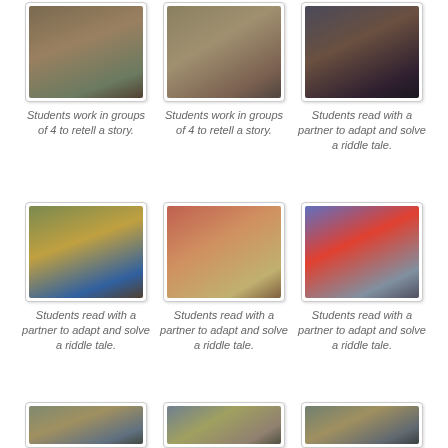[Figure (photo): Classroom photo: students working in groups of 4 at desks]
Students work in groups of 4 to retell a story.
[Figure (photo): Classroom photo: students working in groups of 4 at desks]
Students work in groups of 4 to retell a story.
[Figure (photo): Classroom photo: students reading with a partner]
Students read with a partner to adapt and solve a riddle tale.
[Figure (photo): Classroom photo: student standing at desk reading]
Students read with a partner to adapt and solve a riddle tale.
[Figure (photo): Classroom photo: students at desk with box]
Students read with a partner to adapt and solve a riddle tale.
[Figure (photo): Classroom photo: students reading together at desks]
Students read with a partner to adapt and solve a riddle tale.
[Figure (photo): Classroom photo (partially visible)]
[Figure (photo): Classroom photo (partially visible)]
[Figure (photo): Classroom photo (partially visible)]